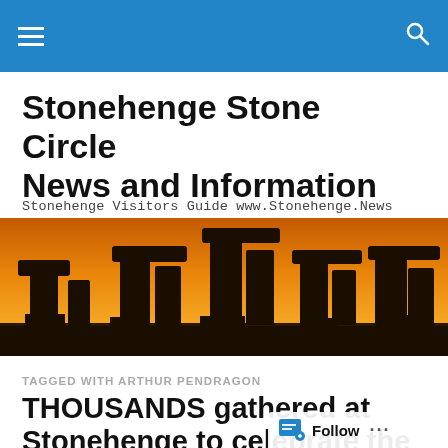Stonehenge Stone Circle News and Information — navigation bar
Stonehenge Stone Circle News and Information
Stonehenge Visitors Guide www.Stonehenge.News
[Figure (photo): Stonehenge stone circle silhouetted against an orange sunset sky]
TAGGED WITH ARTHUR PENDRAGON
THOUSANDS gathered at Stonehenge to celebrate the first sunrise after the...